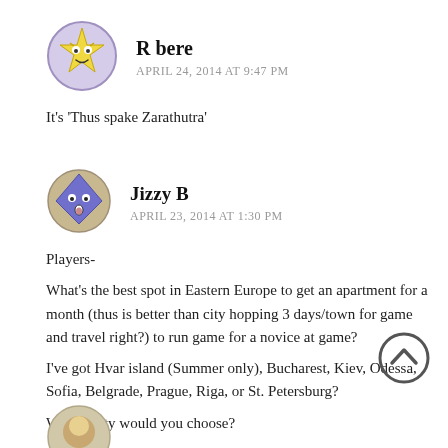[Figure (illustration): Avatar icon for user R bere — yellow star-shaped face with eyes, circular purple border, on lavender background]
R bere
APRIL 24, 2014 AT 9:47 PM
It's 'Thus spake Zarathutra'
[Figure (illustration): Avatar icon for user Jizzy B — blue diamond-shaped face with surprised expression, on tan/khaki background]
Jizzy B
APRIL 23, 2014 AT 1:30 PM
Players-
What's the best spot in Eastern Europe to get an apartment for a month (thus is better than city hopping 3 days/town for game and travel right?) to run game for a novice at game?

I've got Hvar island (Summer only), Bucharest, Kiev, Odessa, Sofia, Belgrade, Prague, Riga, or St. Petersburg?

Which City would you choose?

I'm a novice and love blondes.
[Figure (illustration): Scroll-up / chevron up circle button icon, dark grey outline]
[Figure (illustration): Partial avatar of a third commenter visible at bottom of page]